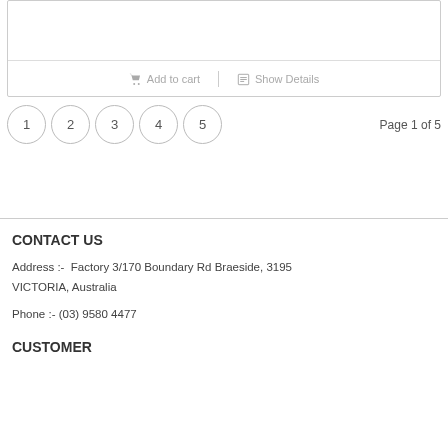[Figure (screenshot): Product card with 'Add to cart' and 'Show Details' buttons separated by a vertical divider]
Add to cart   |   Show Details
1  2  3  4  5   Page 1 of 5
CONTACT US
Address :-  Factory 3/170 Boundary Rd Braeside, 3195 VICTORIA, Australia
Phone :- (03) 9580 4477
CUSTOMER